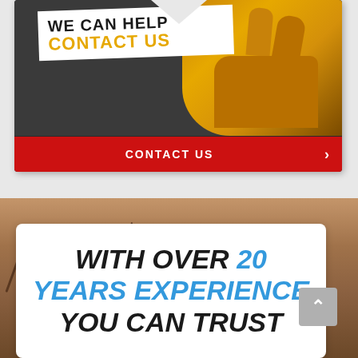[Figure (photo): A yellow work glove holding a white sign that reads 'WE CAN HELP CONTACT US' in bold dark and gold text, against a dark background, with a red 'CONTACT US' button bar at the bottom with a right arrow.]
CONTACT US
[Figure (photo): Cracked dry earth/wood texture background in brown tones with a white card overlay.]
WITH OVER 20 YEARS EXPERIENCE YOU CAN TRUST